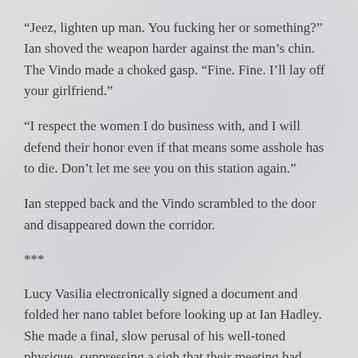“Jeez, lighten up man. You fucking her or something?” Ian shoved the weapon harder against the man’s chin. The Vindo made a choked gasp. “Fine. Fine. I’ll lay off your girlfriend.”
“I respect the women I do business with, and I will defend their honor even if that means some asshole has to die. Don’t let me see you on this station again.”
Ian stepped back and the Vindo scrambled to the door and disappeared down the corridor.
***
Lucy Vasilia electronically signed a document and folded her nano tablet before looking up at Ian Hadley. She made a final, slow perusal of his well-toned physique, suppressing a sigh that their meeting had come to an end. “That should conclude our business. I’ve sent a copy of the contract to your ship’s computer.”